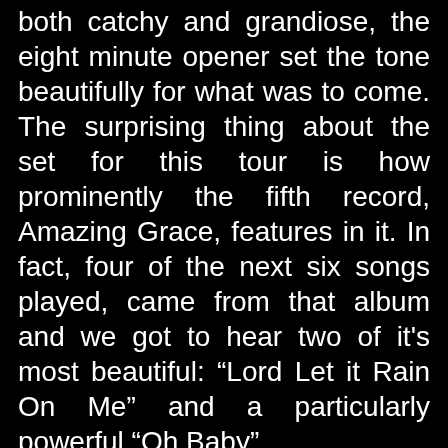both catchy and grandiose, the eight minute opener set the tone beautifully for what was to come. The surprising thing about the set for this tour is how prominently the fifth record, Amazing Grace, features in it. In fact, four of the next six songs played, came from that album and we got to hear two of it's most beautiful: “Lord Let it Rain On Me” and a particularly powerful “Oh Baby”.
Amazing Grace was treated with apparent indifference at the time of its release and Pierce still seemed to be struggling with how to follow the instant classic that was Ladies and Gentlemen We Are Floating in Space, released six years previous. While this tour plays songs from that record, it is completely ignoring anything off of Lazer Guided Melodies, let it